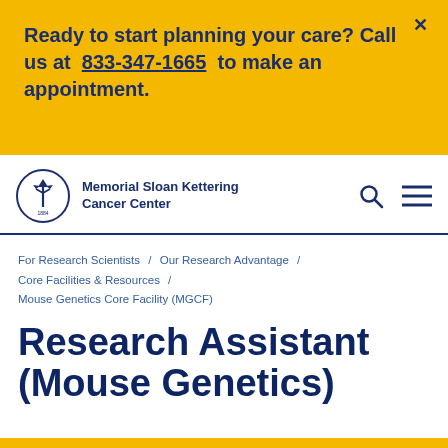Ready to start planning your care? Call us at 833-347-1665 to make an appointment.
[Figure (logo): Memorial Sloan Kettering Cancer Center logo with circular emblem and tree symbol, founded 1884]
Memorial Sloan Kettering Cancer Center
For Research Scientists / Our Research Advantage / Core Facilities & Resources / Mouse Genetics Core Facility (MGCF)
Research Assistant (Mouse Genetics)